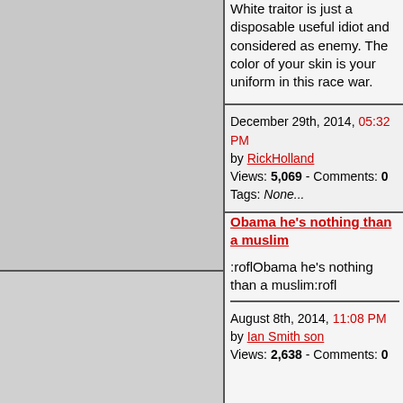White traitor is just a disposable useful idiot and considered as enemy. The color of your skin is your uniform in this race war.
December 29th, 2014, 05:32 PM by RickHolland Views: 5,069 - Comments: 0 Tags: None...
Obama he's nothing than a muslim
:roflObama he's nothing than a muslim:rofl
August 8th, 2014, 11:08 PM by Ian Smith son Views: 2,638 - Comments: 0